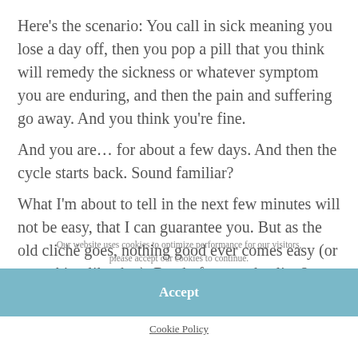Here's the scenario: You call in sick meaning you lose a day off, then you pop a pill that you think will remedy the sickness or whatever symptom you are enduring, and then the pain and suffering go away. And you think you're fine.
And you are… for about a few days. And then the cycle starts back. Sound familiar?
What I'm about to tell in the next few minutes will not be easy, that I can guarantee you. But as the old cliché goes, nothing good ever comes easy (or something like that). Ready for your healing? Let's go.
Our website uses cookies to optimize performance for our visitors, please accept our cookies to continue.
Accept
Cookie Policy